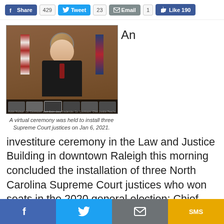Share 429 | Tweet 23 | Email 1 | Like 190
[Figure (screenshot): A virtual video call screenshot via Cisco Webex showing a judge in black robes seated in front of an American flag and a state flag, with a court seal on the wall. Bottom strip shows video thumbnails of participants.]
A virtual ceremony was held to install three Supreme Court justices on Jan 6, 2021.
An investiture ceremony in the Law and Justice Building in downtown Raleigh this morning concluded the installation of three North Carolina Supreme Court justices who won seats in the 2020 general election: Chief Justice Paul Newby and new associate justices
f | tweet | email | SMS